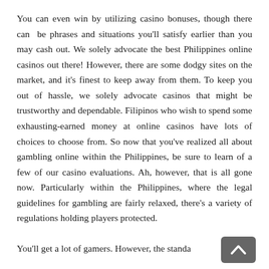You can even win by utilizing casino bonuses, though there can be phrases and situations you'll satisfy earlier than you may cash out. We solely advocate the best Philippines online casinos out there! However, there are some dodgy sites on the market, and it's finest to keep away from them. To keep you out of hassle, we solely advocate casinos that might be trustworthy and dependable. Filipinos who wish to spend some exhausting-earned money at online casinos have lots of choices to choose from. So now that you've realized all about gambling online within the Philippines, be sure to learn of a few of our casino evaluations. Ah, however, that is all gone now. Particularly within the Philippines, where the legal guidelines for gambling are fairly relaxed, there's a variety of regulations holding players protected.
You'll get a lot of gamers. However, the standard will